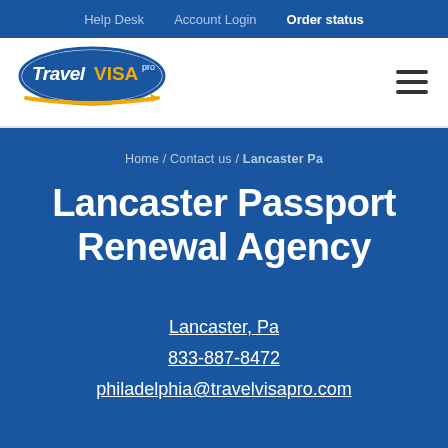Help Desk  Account Login  Order status
[Figure (logo): Travel Visa Pro logo — blue oval with 'Travel' in white italic, 'VISA' in yellow, 'pro' in small white text, and an orange arrow beneath]
Home / Contact us / Lancaster Pa
Lancaster Passport Renewal Agency
Lancaster, Pa
833-887-8472
philadelphia@travelvisapro.com